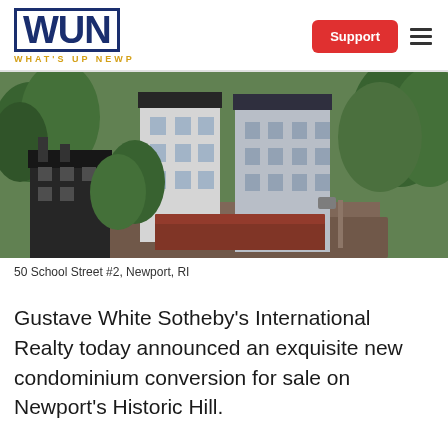WUN WHAT'S UP NEWP — Support
[Figure (photo): Aerial view of 50 School Street #2, Newport, RI — a multi-story white and blue clapboard colonial-style building conversion surrounded by trees and neighboring historic structures.]
50 School Street #2, Newport, RI
Gustave White Sotheby's International Realty today announced an exquisite new condominium conversion for sale on Newport's Historic Hill.